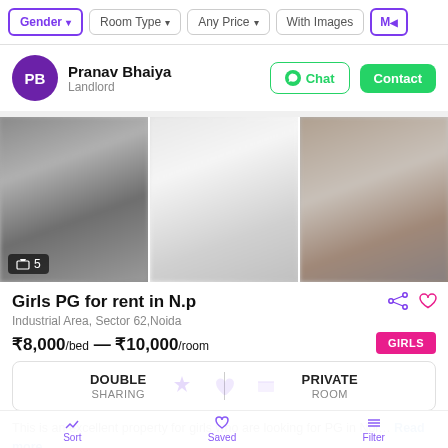Gender | Room Type | Any Price | With Images | Mo
PB
Pranav Bhaiya
Landlord
Chat  Contact
[Figure (photo): Three blurred interior photos of a PG property room/corridor, with image count badge showing '5']
Girls PG for rent in N.p
Industrial Area, Sector 62,Noida
₹8,000/bed — ₹10,000/room
GIRLS
DOUBLE
SHARING
PRIVATE
ROOM
This is an excellent property for girls who are looking for PG in Noi… Read more